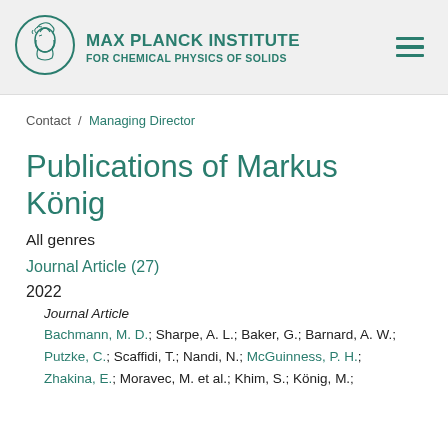[Figure (logo): Max Planck Institute logo — circular emblem with classical figure, teal color]
MAX PLANCK INSTITUTE FOR CHEMICAL PHYSICS OF SOLIDS
Contact / Managing Director
Publications of Markus König
All genres
Journal Article (27)
2022
Journal Article
Bachmann, M. D.; Sharpe, A. L.; Baker, G.; Barnard, A. W.; Putzke, C.; Scaffidi, T.; Nandi, N.; McGuinness, P. H.; Zhakina, E.; Moravec, M. et al.; Khim, S.; König, M.;